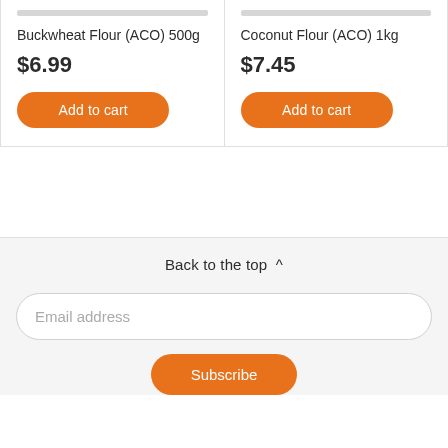Buckwheat Flour (ACO) 500g
$6.99
Add to cart
Coconut Flour (ACO) 1kg
$7.45
Add to cart
Back to the top ^
Email address
Subscribe